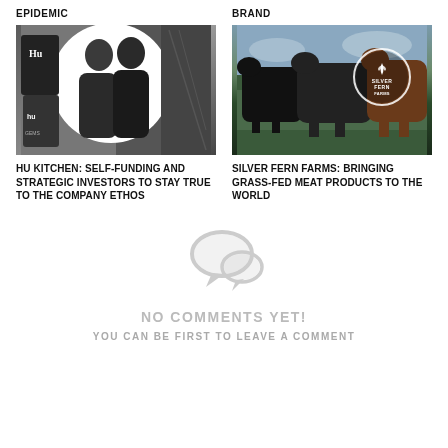EPIDEMIC
[Figure (photo): Photo of two people (a man and woman in black clothing) with Hu Kitchen product packaging, circular overlay on dark background]
HU KITCHEN: SELF-FUNDING AND STRATEGIC INVESTORS TO STAY TRUE TO THE COMPANY ETHOS
BRAND
[Figure (photo): Photo of cows in a field with Silver Fern Farms logo badge overlay]
SILVER FERN FARMS: BRINGING GRASS-FED MEAT PRODUCTS TO THE WORLD
[Figure (illustration): Gray speech bubble / comment icon]
NO COMMENTS YET!
YOU CAN BE FIRST TO LEAVE A COMMENT